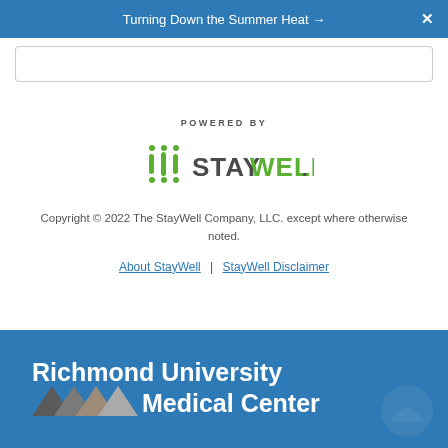Turning Down the Summer Heat →    X
[Figure (other): Search input box area]
POWERED BY
[Figure (logo): StayWell logo with green dot grid icon and STAYWELL wordmark in gray]
Copyright © 2022 The StayWell Company, LLC. except where otherwise noted.
About StayWell | StayWell Disclaimer
[Figure (logo): Richmond University Medical Center logo — white text on blue background with colored triangles]